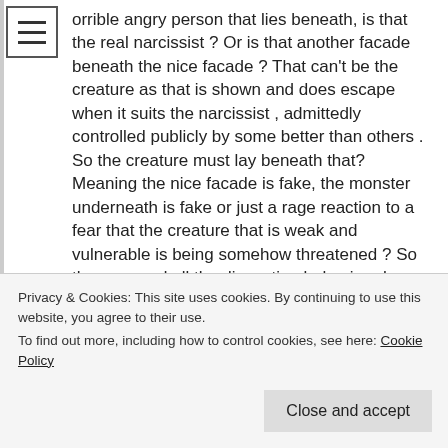orrible angry person that lies beneath, is that the real narcissist ? Or is that another facade beneath the nice facade ? That can't be the creature as that is shown and does escape when it suits the narcissist , admittedly controlled publicly by some better than others . So the creature must lay beneath that? Meaning the nice facade is fake, the monster underneath is fake or just a rage reaction to a fear that the creature that is weak and vulnerable is being somehow threatened ? So the rage and all the disgusting behaviour has very little to do with the person it's aimed at , and only do to with the threat of the narcissist being triggered by old wounds and exposing the real real self ?? Is any of that correct HG, or is it a load of mixed up nonsense
Privacy & Cookies: This site uses cookies. By continuing to use this website, you agree to their use.
To find out more, including how to control cookies, see here: Cookie Policy